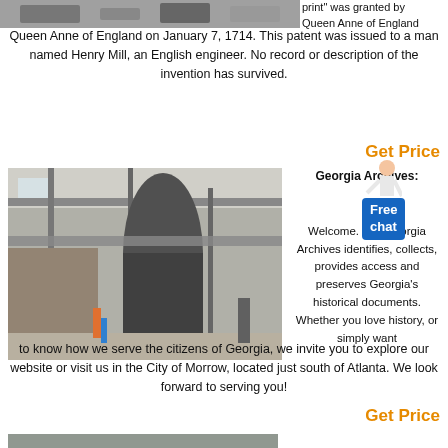[Figure (photo): Industrial machinery interior at top of page (partially visible)]
print" was granted by Queen Anne of England on January 7, 1714. This patent was issued to a man named Henry Mill, an English engineer. No record or description of the invention has survived.
Get Price
[Figure (photo): Industrial factory interior with large mill equipment, silos and steel framework]
Georgia Archives:
Welcome. The Georgia Archives identifies, collects, provides access and preserves Georgia's historical documents. Whether you love history, or simply want to know how we serve the citizens of Georgia, we invite you to explore our website or visit us in the City of Morrow, located just south of Atlanta. We look forward to serving you!
Get Price
[Figure (photo): Another photo partially visible at bottom of page]